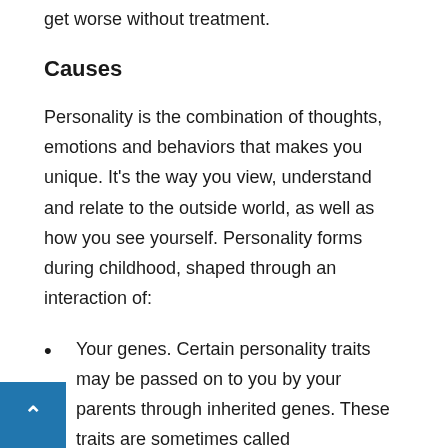get worse without treatment.
Causes
Personality is the combination of thoughts, emotions and behaviors that makes you unique. It's the way you view, understand and relate to the outside world, as well as how you see yourself. Personality forms during childhood, shaped through an interaction of:
Your genes. Certain personality traits may be passed on to you by your parents through inherited genes. These traits are sometimes called